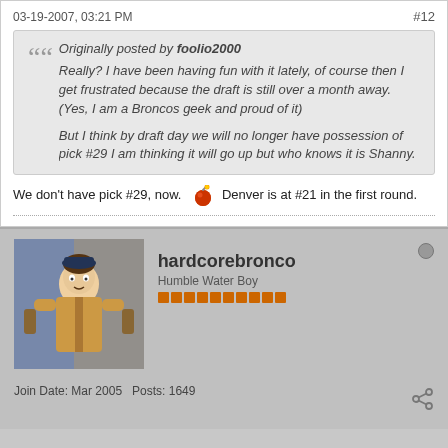03-19-2007, 03:21 PM   #12
Originally posted by foolio2000
Really? I have been having fun with it lately, of course then I get frustrated because the draft is still over a month away. (Yes, I am a Broncos geek and proud of it)

But I think by draft day we will no longer have possession of pick #29 I am thinking it will go up but who knows it is Shanny.
We don't have pick #29, now. [emoji] Denver is at #21 in the first round.
[Figure (photo): User avatar photo of hardcorebronco, showing a person in a vest]
hardcorebronco
Humble Water Boy
Join Date: Mar 2005   Posts: 1649